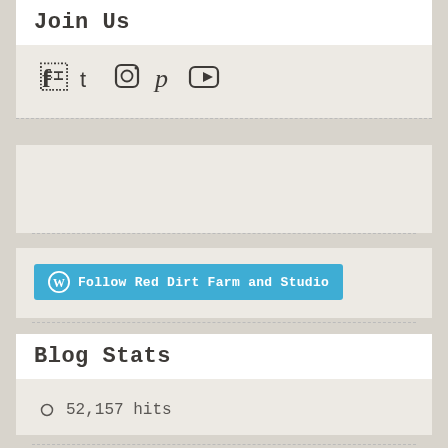Join Us
[Figure (infographic): Social media icons: Facebook, Twitter, Instagram, Pinterest, YouTube]
[Figure (infographic): WordPress Follow button: Follow Red Dirt Farm and Studio]
Blog Stats
52,157 hits